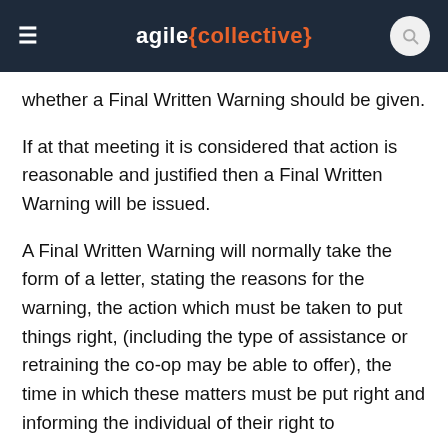agile{collective}
whether a Final Written Warning should be given.
If at that meeting it is considered that action is reasonable and justified then a Final Written Warning will be issued.
A Final Written Warning will normally take the form of a letter, stating the reasons for the warning, the action which must be taken to put things right, (including the type of assistance or retraining the co-op may be able to offer), the time in which these matters must be put right and informing the individual of their right to